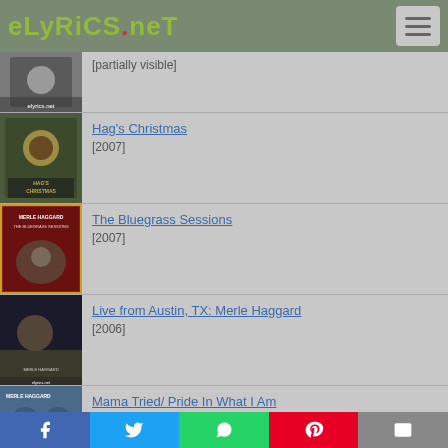eLyrics.net
[Figure (photo): Album cover thumbnail (partially visible), Merle Haggard]
[partially cut off title]
[Figure (photo): Hag's Christmas album cover]
Hag's Christmas
[2007]
[Figure (photo): The Bluegrass Sessions album cover]
The Bluegrass Sessions
[2007]
[Figure (photo): Live from Austin, TX: Merle Haggard album cover]
Live from Austin, TX: Merle Haggard
[2006]
[Figure (photo): Mama Tried/ Pride In What I Am album cover (partial)]
Mama Tried/ Pride In What I Am
[2006]
Social share bar: Facebook, Twitter, WhatsApp, Pinterest, Email